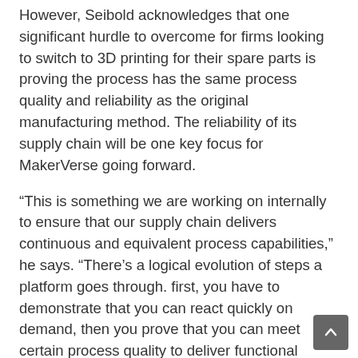However, Seibold acknowledges that one significant hurdle to overcome for firms looking to switch to 3D printing for their spare parts is proving the process has the same process quality and reliability as the original manufacturing method. The reliability of its supply chain will be one key focus for MakerVerse going forward.
“This is something we are working on internally to ensure that our supply chain delivers continuous and equivalent process capabilities,” he says. “There’s a logical evolution of steps a platform goes through. first, you have to demonstrate that you can react quickly on demand, then you prove that you can meet certain process quality to deliver functional spare parts, and then you try and demonstrate that you can also manufacture end-use parts which require product certification.